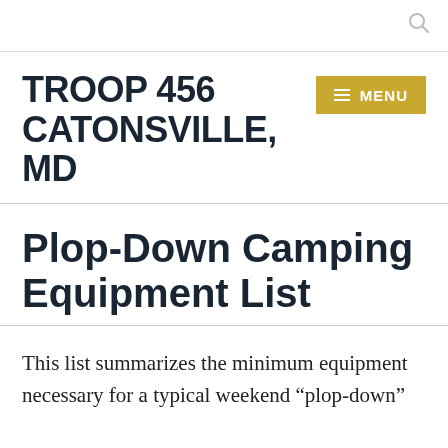TROOP 456 CATONSVILLE, MD
Plop-Down Camping Equipment List
This list summarizes the minimum equipment necessary for a typical weekend “plop-down”